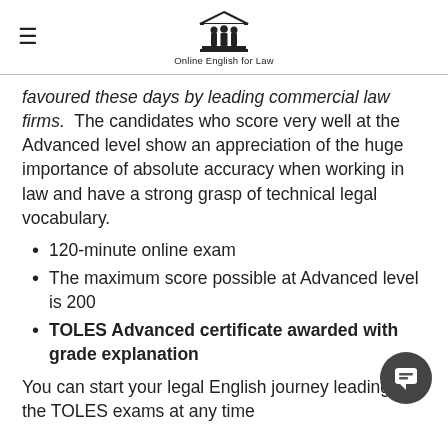Online English for Law
favoured these days by leading commercial law firms. The candidates who score very well at the Advanced level show an appreciation of the huge importance of absolute accuracy when working in law and have a strong grasp of technical legal vocabulary.
120-minute online exam
The maximum score possible at Advanced level is 200
TOLES Advanced certificate awarded with grade explanation
You can start your legal English journey leading to the TOLES exams at any time